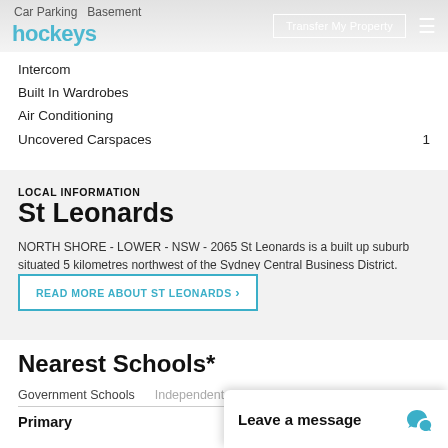hockeys | Transfer My Property
Car Parking  Basement
Intercom
Built In Wardrobes
Air Conditioning
Uncovered Carspaces  1
LOCAL INFORMATION
St Leonards
NORTH SHORE - LOWER - NSW - 2065 St Leonards is a built up suburb situated 5 kilometres northwest of the Sydney Central Business District. Originally St Leonards referred to the entire North Shore area, from North Sydney to Gore Hill.
READ MORE ABOUT ST LEONARDS ›
Nearest Schools*
Government Schools
Primary
Leave a message